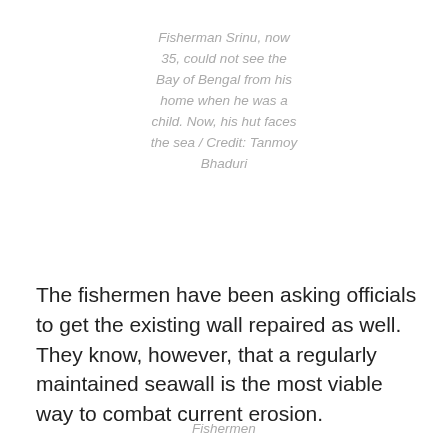Fisherman Srinu, now 35, could not see the Bay of Bengal from his home when he was a child. Now, his hut faces the sea / Credit: Tanmoy Bhaduri
The fishermen have been asking officials to get the existing wall repaired as well. They know, however, that a regularly maintained seawall is the most viable way to combat current erosion.
Fishermen